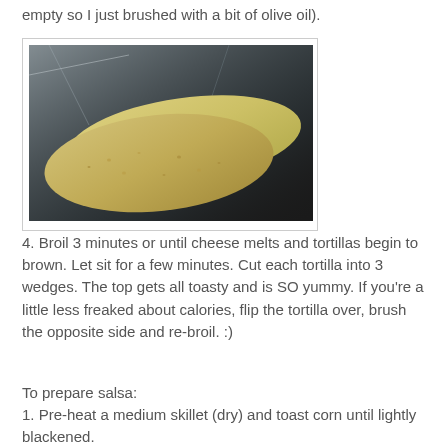empty so I just brushed with a bit of olive oil).
[Figure (photo): Photo of tortillas on a foil-lined baking sheet, viewed from above, showing the textured surface of the tortillas ready to be broiled.]
4. Broil 3 minutes or until cheese melts and tortillas begin to brown. Let sit for a few minutes. Cut each tortilla into 3 wedges. The top gets all toasty and is SO yummy. If you're a little less freaked about calories, flip the tortilla over, brush the opposite side and re-broil. :)
To prepare salsa:
1. Pre-heat a medium skillet (dry) and toast corn until lightly blackened.